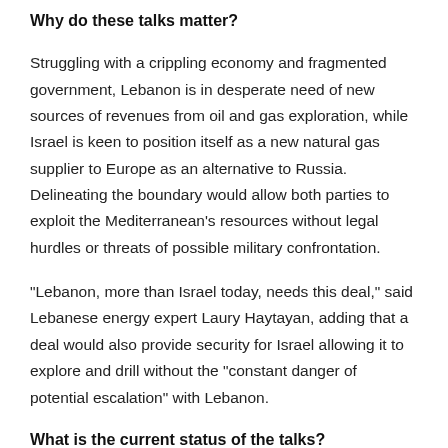Why do these talks matter?
Struggling with a crippling economy and fragmented government, Lebanon is in desperate need of new sources of revenues from oil and gas exploration, while Israel is keen to position itself as a new natural gas supplier to Europe as an alternative to Russia. Delineating the boundary would allow both parties to exploit the Mediterranean's resources without legal hurdles or threats of possible military confrontation.
“Lebanon, more than Israel today, needs this deal,” said Lebanese energy expert Laury Haytayan, adding that a deal would also provide security for Israel allowing it to explore and drill without the “constant danger of potential escalation” with Lebanon.
What is the current status of the talks?
The US has proposed a compromise solution, which would create an S-shaped maritime economic boundary between the two